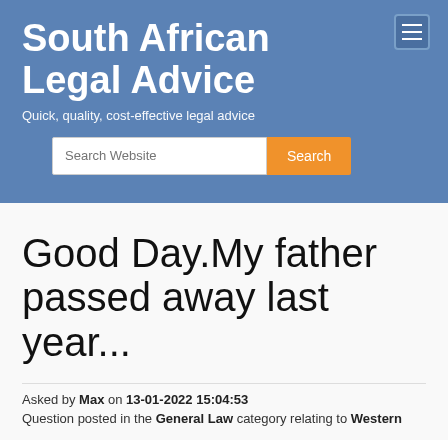South African Legal Advice
Quick, quality, cost-effective legal advice
Good Day.My father passed away last year...
Asked by Max on 13-01-2022 15:04:53
Question posted in the General Law category relating to Western